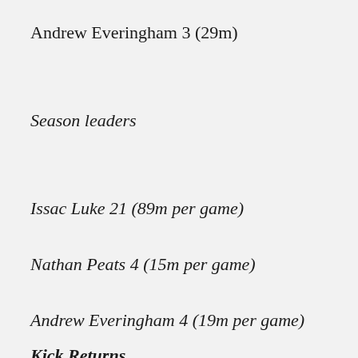Andrew Everingham 3 (29m)
Season leaders
Issac Luke 21 (89m per game)
Nathan Peats 4 (15m per game)
Andrew Everingham 4 (19m per game)
Kick Returns